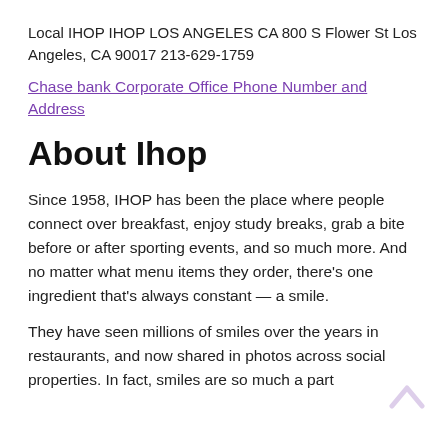Local IHOP IHOP LOS ANGELES CA 800 S Flower St Los Angeles, CA 90017 213-629-1759
Chase bank Corporate Office Phone Number and Address
About Ihop
Since 1958, IHOP has been the place where people connect over breakfast, enjoy study breaks, grab a bite before or after sporting events, and so much more. And no matter what menu items they order, there’s one ingredient that’s always constant — a smile.
They have seen millions of smiles over the years in restaurants, and now shared in photos across social properties. In fact, smiles are so much a part